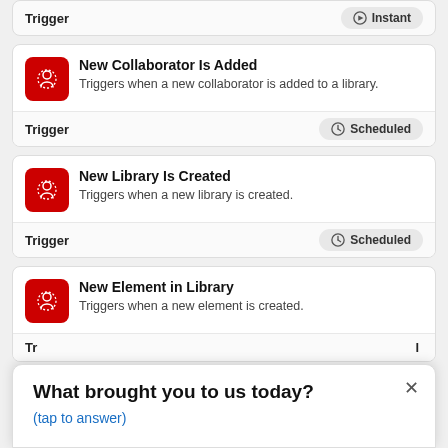Trigger | Instant
New Collaborator Is Added — Triggers when a new collaborator is added to a library. | Trigger | Scheduled
New Library Is Created — Triggers when a new library is created. | Trigger | Scheduled
New Element in Library — Triggers when a new element is created. | Trigger
What brought you to us today?
(tap to answer)